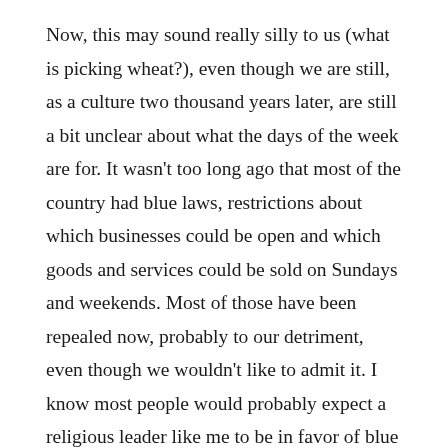Now, this may sound really silly to us (what is picking wheat?), even though we are still, as a culture two thousand years later, are still a bit unclear about what the days of the week are for. It wasn't too long ago that most of the country had blue laws, restrictions about which businesses could be open and which goods and services could be sold on Sundays and weekends. Most of those have been repealed now, probably to our detriment, even though we wouldn't like to admit it. I know most people would probably expect a religious leader like me to be in favor of blue laws because it might lead to better worship attendance, but that's actually not my concern. I wonder more about how things like a common day of rest across a whole culture might